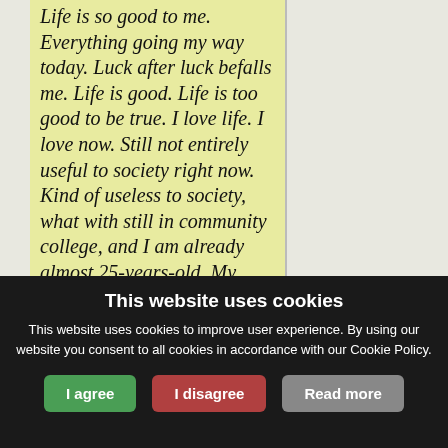Life is so good to me. Everything going my way today. Luck after luck befalls me. Life is good. Life is too good to be true. I love life. I love now. Still not entirely useful to society right now. Kind of useless to society, what with still in community college, and I am already almost 25-years-old. My goal in life is to contribute to society. Now during this fast is the time to examine my progress, goals, and values. At what age will I have made a major
This website uses cookies
This website uses cookies to improve user experience. By using our website you consent to all cookies in accordance with our Cookie Policy.